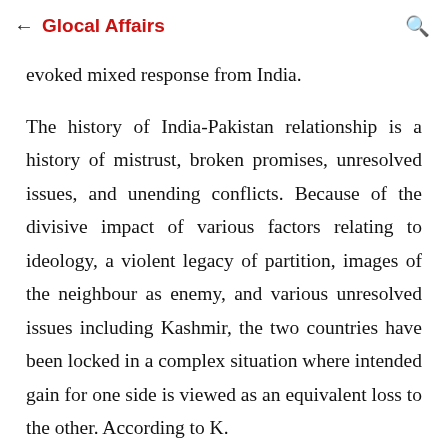← Glocal Affairs 🔍
evoked mixed response from India.
The history of India-Pakistan relationship is a history of mistrust, broken promises, unresolved issues, and unending conflicts. Because of the divisive impact of various factors relating to ideology, a violent legacy of partition, images of the neighbour as enemy, and various unresolved issues including Kashmir, the two countries have been locked in a complex situation where intended gain for one side is viewed as an equivalent loss to the other. According to K.